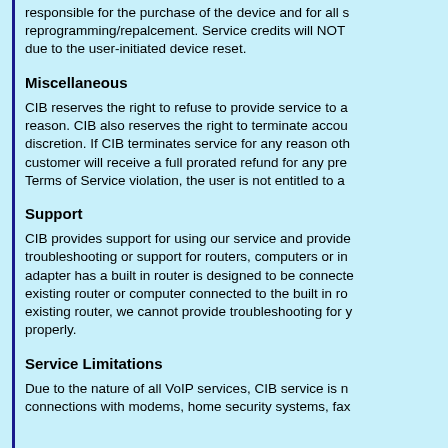responsible for the purchase of the device and for all s... reprogramming/repalcement. Service credits will NOT ... due to the user-initiated device reset.
Miscellaneous
CIB reserves the right to refuse to provide service to a... reason. CIB also reserves the right to terminate accou... discretion. If CIB terminates service for any reason oth... customer will receive a full prorated refund for any pre... Terms of Service violation, the user is not entitled to a...
Support
CIB provides support for using our service and provide... troubleshooting or support for routers, computers or in... adapter has a built in router is designed to be connecte... existing router or computer connected to the built in ro... existing router, we cannot provide troubleshooting for y... properly.
Service Limitations
Due to the nature of all VoIP services, CIB service is n... connections with modems, home security systems, fax...